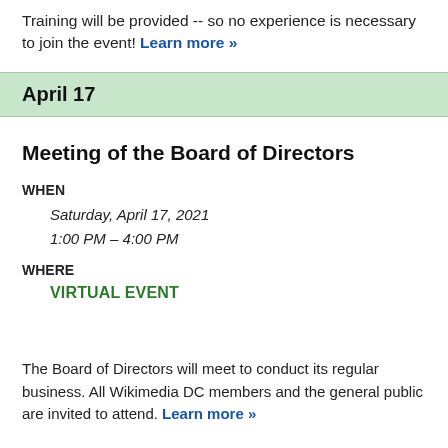Training will be provided -- so no experience is necessary to join the event! Learn more »
April 17
Meeting of the Board of Directors
WHEN
Saturday, April 17, 2021
1:00 PM – 4:00 PM
WHERE
VIRTUAL EVENT
The Board of Directors will meet to conduct its regular business. All Wikimedia DC members and the general public are invited to attend. Learn more »